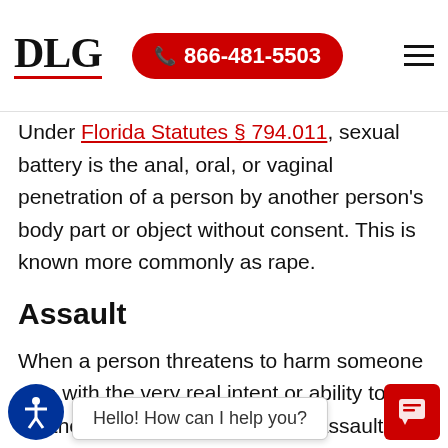DLG | 866-481-5503
Under Florida Statutes § 794.011, sexual battery is the anal, oral, or vaginal penetration of a person by another person's body part or object without consent. This is known more commonly as rape.
Assault
When a person threatens to harm someone else with the very real intent or ability to do so, they are considered to have assaulted the victim under Florida law.